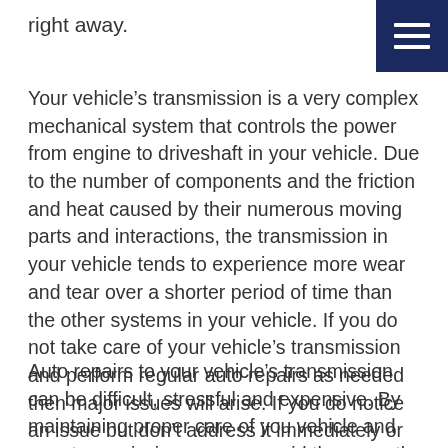right away.
Your vehicle’s transmission is a very complex mechanical system that controls the power from engine to driveshaft in your vehicle. Due to the number of components and the friction and heat caused by their numerous moving parts and interactions, the transmission in your vehicle tends to experience more wear and tear over a shorter period of time than the other systems in your vehicle. If you do not take care of your vehicle’s transmission and perform regular auto repairs as needed then major issues will arise. If you do notice an issue but don’t address it immediately or take it to your mechanic for auto repair then the issue can become much worse very quickly.
Auto repairs to your vehicle’s transmission can be difficult, stressful and expensive. By maintaining proper care of you vehicle and your transmission you can avoid these costly auto repairs or at the very least, keep them to a minimum.